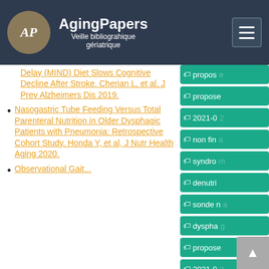AgingPapers – Veille bibliographique gériatrique
Delay (MIND) Diet Slows Cognitive Decline After Stroke. Cherian L, et al, J Prev Alzheimers Dis 2019.
Nasogastric Tube Feeding Versus Total Parenteral Nutrition in Older Dysphagic Patients with Pneumonia: Retrospective Cohort Study. Honda Y, et al, J Nutr Health Aging 2020.
Observational Gait...